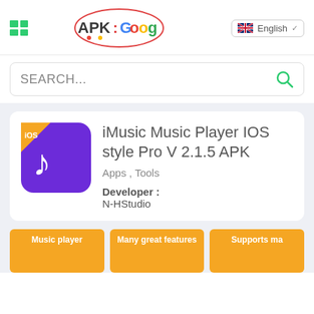[Figure (logo): APK:Google logo with colorful text inside an oval border]
English
SEARCH...
iMusic Music Player IOS style Pro V 2.1.5 APK
Apps , Tools
Developer : N-HStudio
[Figure (screenshot): Screenshot showing Music player feature]
[Figure (screenshot): Screenshot showing Many great features]
[Figure (screenshot): Screenshot showing Supports ma...]